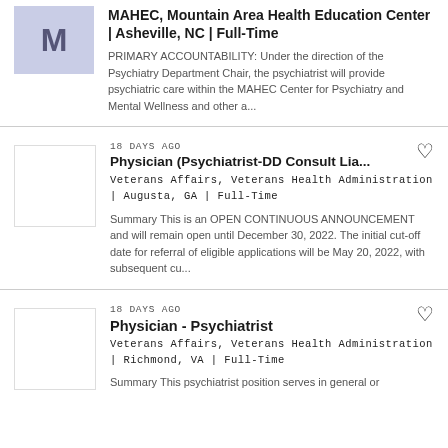[Figure (logo): Company logo placeholder with letter M on blue-gray background]
MAHEC, Mountain Area Health Education Center | Asheville, NC | Full-Time
PRIMARY ACCOUNTABILITY: Under the direction of the Psychiatry Department Chair, the psychiatrist will provide psychiatric care within the MAHEC Center for Psychiatry and Mental Wellness and other a...
18 DAYS AGO
Physician (Psychiatrist-DD Consult Lia...
Veterans Affairs, Veterans Health Administration | Augusta, GA | Full-Time
Summary This is an OPEN CONTINUOUS ANNOUNCEMENT and will remain open until December 30, 2022. The initial cut-off date for referral of eligible applications will be May 20, 2022, with subsequent cu...
18 DAYS AGO
Physician - Psychiatrist
Veterans Affairs, Veterans Health Administration | Richmond, VA | Full-Time
Summary This psychiatrist position serves in general or